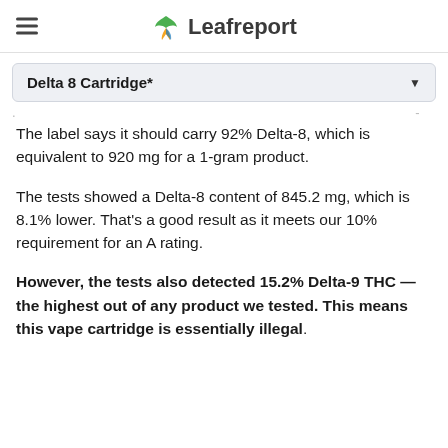Leafreport
Delta 8 Cartridge*
The label says it should carry 92% Delta-8, which is equivalent to 920 mg for a 1-gram product.
The tests showed a Delta-8 content of 845.2 mg, which is 8.1% lower. That’s a good result as it meets our 10% requirement for an A rating.
However, the tests also detected 15.2% Delta-9 THC — the highest out of any product we tested. This means this vape cartridge is essentially illegal.